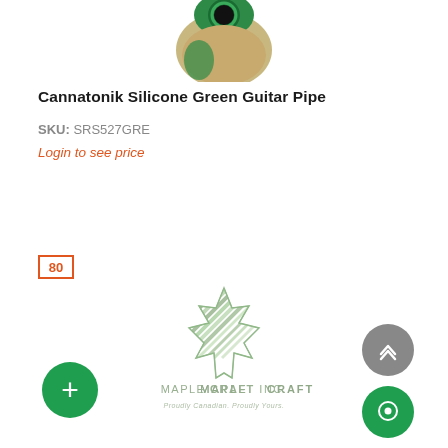[Figure (photo): Partial image of a green silicone guitar pipe product, showing top portion]
Cannatonik Silicone Green Guitar Pipe
SKU: SRS527GRE
Login to see price
80
[Figure (logo): Maple Craft Inc. logo — green maple leaf with diagonal stripes, text 'MAPLE CRAFT INC.' and 'Proudly Canadian. Proudly Yours.' below]